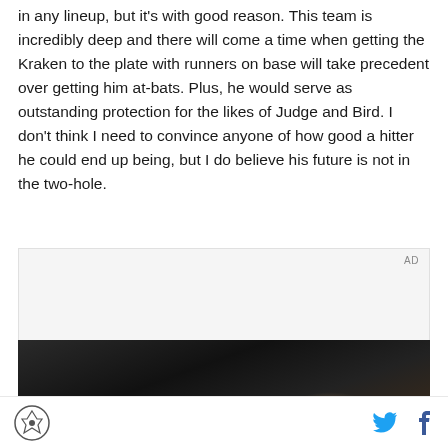in any lineup, but it's with good reason. This team is incredibly deep and there will come a time when getting the Kraken to the plate with runners on base will take precedent over getting him at-bats. Plus, he would serve as outstanding protection for the likes of Judge and Bird. I don't think I need to convince anyone of how good a hitter he could end up being, but I do believe his future is not in the two-hole.
[Figure (photo): Advertisement placeholder box followed by a dark photo showing an interior scene]
Site logo | Twitter share icon | Facebook share icon